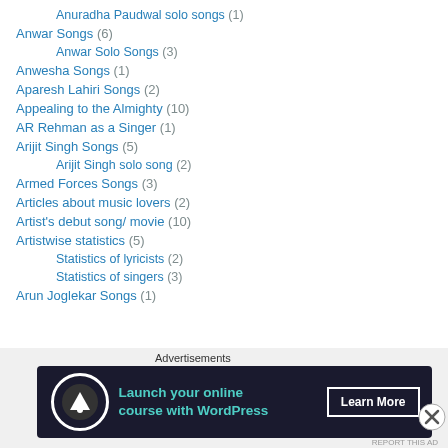Anuradha Paudwal solo songs (1)
Anwar Songs (6)
Anwar Solo Songs (3)
Anwesha Songs (1)
Aparesh Lahiri Songs (2)
Appealing to the Almighty (10)
AR Rehman as a Singer (1)
Arijit Singh Songs (5)
Arijit Singh solo song (2)
Armed Forces Songs (3)
Articles about music lovers (2)
Artist's debut song/ movie (10)
Artistwise statistics (5)
Statistics of lyricists (2)
Statistics of singers (3)
Arun Joglekar Songs (1)
[Figure (infographic): Advertisement banner: 'Launch your online course with WordPress' with Learn More button on dark navy background]